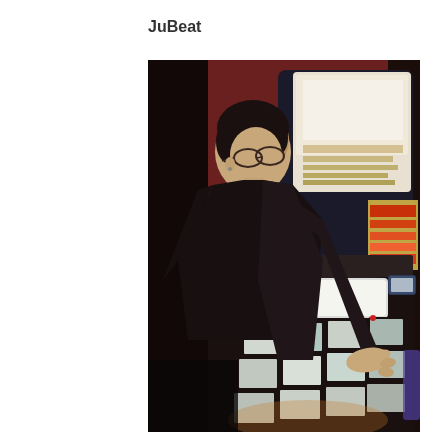JuBeat
[Figure (photo): A person wearing glasses and a black sleeveless top playing a JuBeat arcade rhythm game machine. The machine has a 4x3 grid of illuminated touch panels on the horizontal playing surface and a large monitor angled above. The setting appears to be a dim arcade or entertainment venue.]